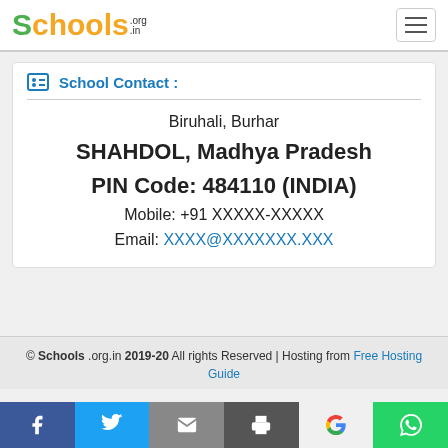Schools.org.in
School Contact :
Biruhali, Burhar
SHAHDOL, Madhya Pradesh
PIN Code: 484110 (INDIA)
Mobile: +91 XXXXX-XXXXX
Email: XXXX@XXXXXXX.XXX
© Schools .org.in 2019-20 All rights Reserved | Hosting from Free Hosting Guide